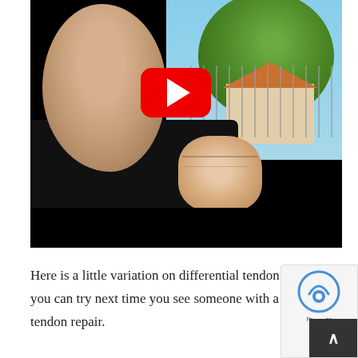[Figure (photo): A YouTube video thumbnail showing a young man in a black t-shirt holding up a clenched fist toward the camera, outdoors with trees and a house visible in the background. A red YouTube play button overlay is centered on the image. The lower portion of the video frame is a black bar.]
Here is a little variation on differential tendon gliding you can try next time you see someone with a flexor tendon repair.